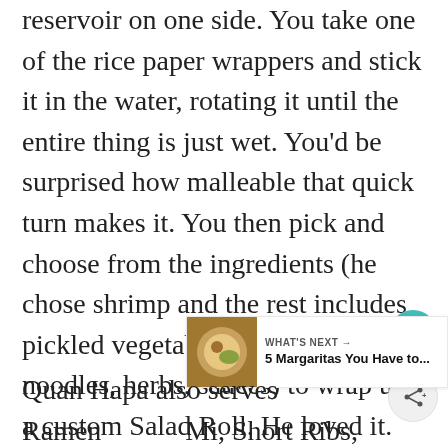reservoir on one side. You take one of the rice paper wrappers and stick it in the water, rotating it until the entire thing is just wet. You'd be surprised how malleable that quick turn makes it. You then pick and choose from the ingredients (he chose shrimp and the rest includes pickled vegetables, lettuce, noodles, herbs, sauces) to wrap up a custom Salad Roll. He loved it.
Quan Hapa also serves Ramen Mi, Short Ribs, wings, and more. You